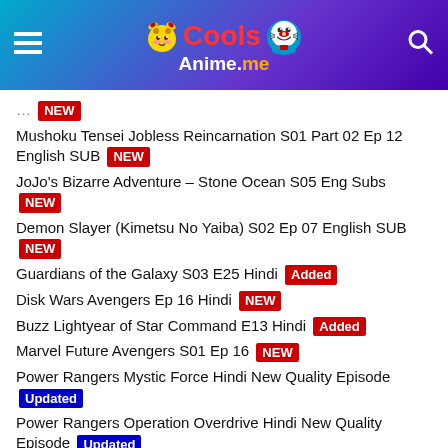[Figure (logo): CoolsAnime.me website header logo with Pikachu and Doraemon characters, hamburger menu icon on left, search icon on right, gradient blue-purple background]
(partial text) ... NEW
Mushoku Tensei Jobless Reincarnation S01 Part 02 Ep 12 English SUB NEW
JoJo's Bizarre Adventure – Stone Ocean S05 Eng Subs NEW
Demon Slayer (Kimetsu No Yaiba) S02 Ep 07 English SUB NEW
Guardians of the Galaxy S03 E25 Hindi Added
Disk Wars Avengers Ep 16 Hindi NEW
Buzz Lightyear of Star Command E13 Hindi Added
Marvel Future Avengers S01 Ep 16 NEW
Power Rangers Mystic Force Hindi New Quality Episode Updated
Power Rangers Operation Overdrive Hindi New Quality Episode Updated